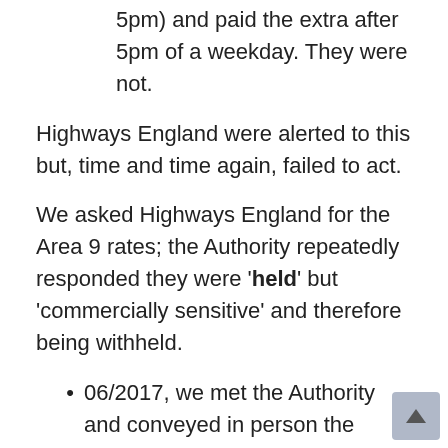5pm) and paid the extra after 5pm of a weekday.  They were not.
Highways England were alerted to this but, time and time again, failed to act.
We asked Highways England for the Area 9 rates;  the Authority repeatedly responded they were 'held' but 'commercially sensitive' and therefore being withheld.
06/2017, we met the Authority and conveyed in person the concerns, providing documentary evidence of the conduct, an example.  Subsequently at the Authority's request, reiterating the issues to KPMG (transcript here).
12/2018, an Information Tribunal, found